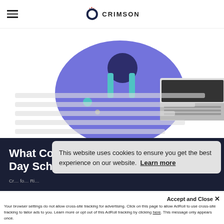Crimson Education logo and hamburger menu
[Figure (illustration): Illustration of a student with a laptop and globe on a purple circular background]
What Comes After Boarding / Day School Admissions?
Crimson... for... Ri...
This website uses cookies to ensure you get the best experience on our website. Learn more
Accept and Close ×
Your browser settings do not allow cross-site tracking for advertising. Click on this page to allow AdRoll to use cross-site tracking to tailor ads to you. Learn more or opt out of this AdRoll tracking by clicking here. This message only appears once.